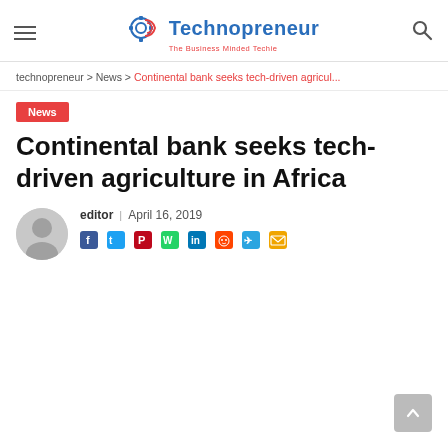Technopreneur — The Business Minded Techie
technopreneur > News > Continental bank seeks tech-driven agricul...
News
Continental bank seeks tech-driven agriculture in Africa
editor | April 16, 2019